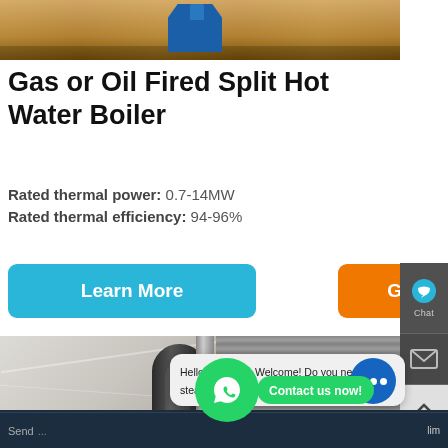[Figure (photo): Top banner image showing a boiler product on a wooden floor background]
Gas or Oil Fired Split Hot Water Boiler
Rated thermal power: 0.7-14MW
Rated thermal efficiency: 94-96%
Learn More
Get a quote
[Figure (photo): Industrial boiler product photo in a marble-finished room with shutters]
Contact us now!
Hello, I'm Allen. Welcome! Do you need steam or hot water boilers?
Send...